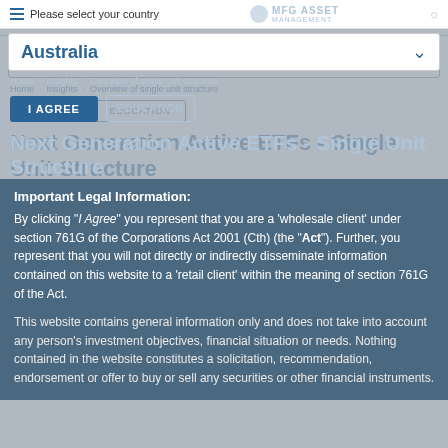Please select your country | MFG ASSET MANAGEMENT | MENU
Australia
Home · Insights · Overview of single unit structure
I AGREE | EDUCATION
Next Generation Active ETFs - Single Unit Structure
Important Legal Information:
By clicking "I Agree" you represent that you are a 'wholesale client' under section 761G of the Corporations Act 2001 (Cth) (the "Act"). Further, you represent that you will not directly or indirectly disseminate information contained on this website to a 'retail client' within the meaning of section 761G of the Act.
This website contains general information only and does not take into account any person's investment objectives, financial situation or needs. Nothing contained in the website constitutes a solicitation, recommendation, endorsement or offer to buy or sell any securities or other financial instruments.